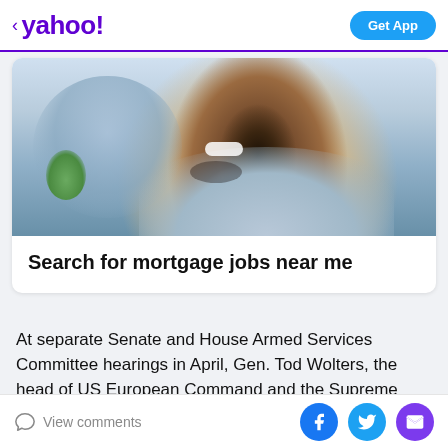< yahoo! | Get App
[Figure (photo): Close-up photo of a smiling Black man in a grey blazer, with blurred background showing another person and green plant]
Search for mortgage jobs near me
At separate Senate and House Armed Services Committee hearings in April, Gen. Tod Wolters, the head of US European Command and the Supreme Allied Commander Europe, said the F-35 was needed "to ensure
View comments | Facebook | Twitter | Email